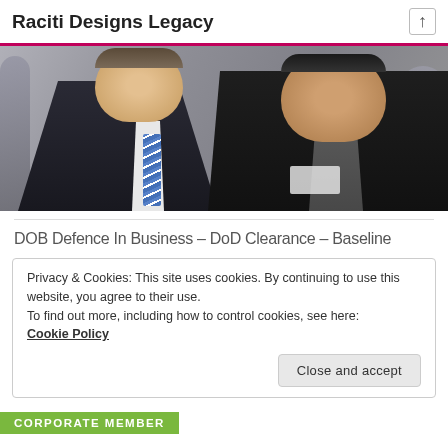Raciti Designs Legacy
[Figure (photo): Two men smiling at a business/networking event. Left person wears a dark suit with a blue striped tie, right person wears a dark jacket with a name badge. Background shows other attendees.]
DOB Defence In Business – DoD Clearance – Baseline
Privacy & Cookies: This site uses cookies. By continuing to use this website, you agree to their use.
To find out more, including how to control cookies, see here:
Cookie Policy
Close and accept
CORPORATE MEMBER